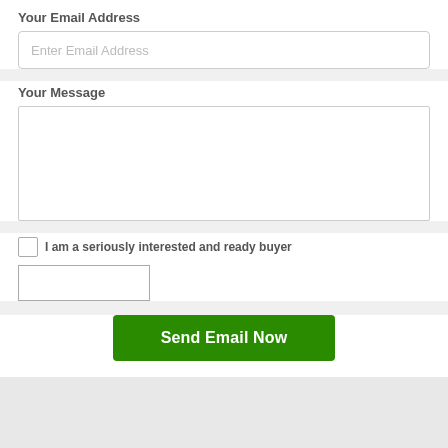Your Email Address
Enter Email Address
Your Message
I am a seriously interested and ready buyer
Send Email Now
2000-2003 Honda Accords in Jamaica